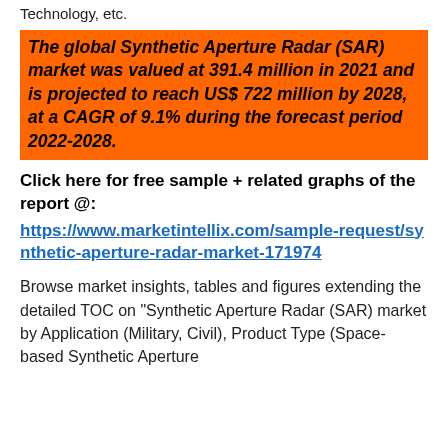Technology, etc.
The global Synthetic Aperture Radar (SAR) market was valued at 391.4 million in 2021 and is projected to reach US$ 722 million by 2028, at a CAGR of 9.1% during the forecast period 2022-2028.
Click here for free sample + related graphs of the report @:
https://www.marketintellix.com/sample-request/synthetic-aperture-radar-market-171974
Browse market insights, tables and figures extending the detailed TOC on “Synthetic Aperture Radar (SAR) market by Application (Military, Civil), Product Type (Space-based Synthetic Aperture